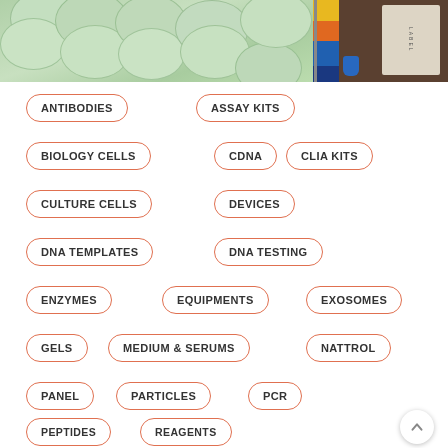[Figure (photo): Photo collage: green pills/capsules on left, colorful labeled laboratory vials/books on right with brown background and blue cap]
ANTIBODIES
ASSAY KITS
BIOLOGY CELLS
CDNA
CLIA KITS
CULTURE CELLS
DEVICES
DNA TEMPLATES
DNA TESTING
ENZYMES
EQUIPMENTS
EXOSOMES
GELS
MEDIUM & SERUMS
NATTROL
PANEL
PARTICLES
PCR
PEPTIDES
REAGENTS
RECOMBINANT PROTEINS
RIA KITS